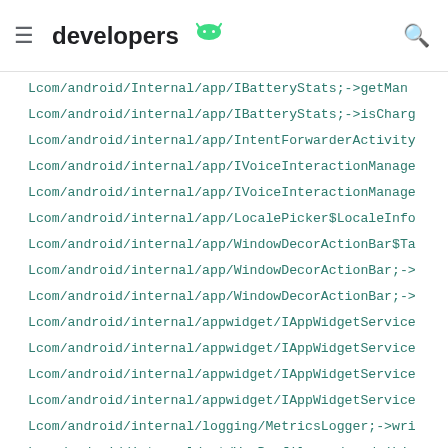developers
Lcom/android/internal/app/IBatteryStats;->isCharg
Lcom/android/internal/app/IntentForwarderActivity
Lcom/android/internal/app/IVoiceInteractionManage
Lcom/android/internal/app/IVoiceInteractionManage
Lcom/android/internal/app/LocalePicker$LocaleInfo
Lcom/android/internal/app/WindowDecorActionBar$Ta
Lcom/android/internal/app/WindowDecorActionBar;->
Lcom/android/internal/app/WindowDecorActionBar;->
Lcom/android/internal/appwidget/IAppWidgetService
Lcom/android/internal/appwidget/IAppWidgetService
Lcom/android/internal/appwidget/IAppWidgetService
Lcom/android/internal/appwidget/IAppWidgetService
Lcom/android/internal/logging/MetricsLogger;->wri
Lcom/android/internal/net/VpnProfile;->decode(Lja
Lcom/android/internal/os/BaseCommand;-><init>()V
Lcom/android/internal/os/BaseCommand;->mArgs:Lcom
Lcom/android/internal/os/BatterySipper;->cpuPower
Lcom/android/internal/os/BatteryStatsHelper;->get
Lcom/android/internal/os/BatteryStatsHelper;->ref
Lcom/android/internal/os/BatteryStatsImpl;->getDi